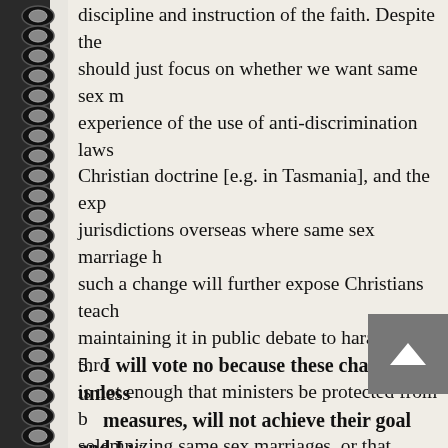discipline and instruction of the faith. Despite the [view that we] should just focus on whether we want same sex marriage, the experience of the use of anti-discrimination laws to restrict Christian doctrine [e.g. in Tasmania], and the experience of jurisdictions overseas where same sex marriage has been allowed, such a change will further expose Christians teaching and maintaining it in public debate to harassment through law. It is not enough that ministers be protected from being forced to solemnizing same sex marriages, or that church buildings from being used in same sex marriages. There needs to be Christian schools in their employment and teaching, Christian hospitals, Christian groups on campus, protection for all Christian institutions and organizations in accord… must be able to continue a distinctively Christian e… vote will encourage politicians to engage with the…
5. I will vote no because these changes, unless [accompanied by adequate] measures, will not achieve their goal and I w…